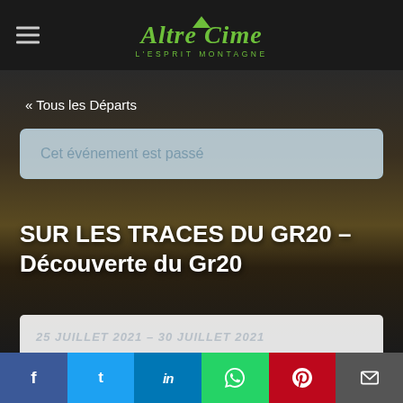Altre Cime – L'ESPRIT MONTAGNE
« Tous les Départs
Cet événement est passé
SUR LES TRACES DU GR20 – Découverte du Gr20
25 JUILLET 2021 - 30 JUILLET 2021
f   t   in   (whatsapp)   P   (email)